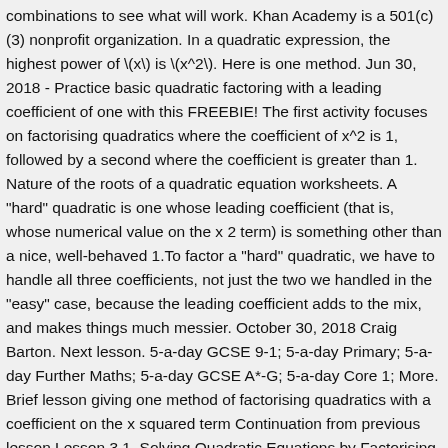combinations to see what will work. Khan Academy is a 501(c)(3) nonprofit organization. In a quadratic expression, the highest power of \(x\) is \(x^2\). Here is one method. Jun 30, 2018 - Practice basic quadratic factoring with a leading coefficient of one with this FREEBIE! The first activity focuses on factorising quadratics where the coefficient of x^2 is 1, followed by a second where the coefficient is greater than 1. Nature of the roots of a quadratic equation worksheets. A "hard" quadratic is one whose leading coefficient (that is, whose numerical value on the x 2 term) is something other than a nice, well-behaved 1.To factor a "hard" quadratic, we have to handle all three coefficients, not just the two we handled in the "easy" case, because the leading coefficient adds to the mix, and makes things much messier. October 30, 2018 Craig Barton. Next lesson. 5-a-day GCSE 9-1; 5-a-day Primary; 5-a-day Further Maths; 5-a-day GCSE A*-G; 5-a-day Core 1; More. Brief lesson giving one method of factorising quadratics with a coefficient on the x squared term Continuation from previous lesson Lesson 3 1. Solving Quadratic Equations by Factorising. At Cazoom Maths, our worksheets cover all factorising